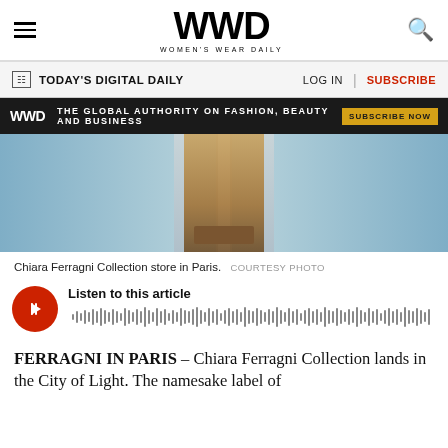WWD WOMEN'S WEAR DAILY
TODAY'S DIGITAL DAILY   LOG IN   SUBSCRIBE
[Figure (photo): Chiara Ferragni Collection store in Paris, showing light blue exterior facade with open white double doors revealing a warm interior with wooden furniture]
Chiara Ferragni Collection store in Paris.  COURTESY PHOTO
Listen to this article
FERRAGNI IN PARIS – Chiara Ferragni Collection lands in the City of Light. The namesake label of